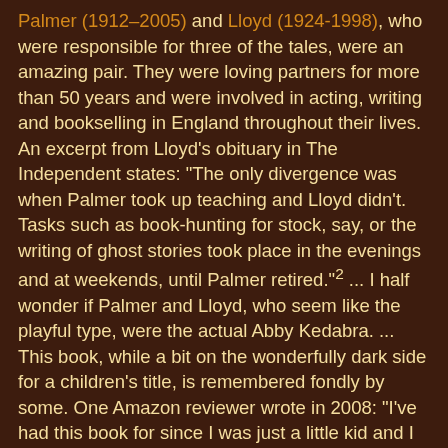Palmer (1912–2005) and Lloyd (1924-1998), who were responsible for three of the tales, were an amazing pair. They were loving partners for more than 50 years and were involved in acting, writing and bookselling in England throughout their lives. An excerpt from Lloyd's obituary in The Independent states: "The only divergence was when Palmer took up teaching and Lloyd didn't. Tasks such as book-hunting for stock, say, or the writing of ghost stories took place in the evenings and at weekends, until Palmer retired."2 ... I half wonder if Palmer and Lloyd, who seem like the playful type, were the actual Abby Kedabra. ... This book, while a bit on the wonderfully dark side for a children's title, is remembered fondly by some. One Amazon reviewer wrote in 2008: "I've had this book for since I was just a little kid and I have always loved it. I still read it once or twice every few years. It's a very magical book with very, very unique witch stories." And, earlier